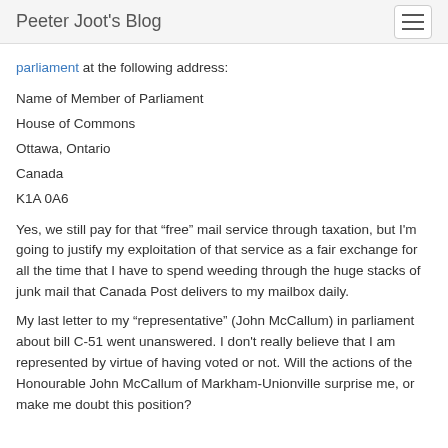Peeter Joot's Blog
parliament at the following address:
Name of Member of Parliament
House of Commons
Ottawa, Ontario
Canada
K1A 0A6
Yes, we still pay for that “free” mail service through taxation, but I'm going to justify my exploitation of that service as a fair exchange for all the time that I have to spend weeding through the huge stacks of junk mail that Canada Post delivers to my mailbox daily.
My last letter to my “representative” (John McCallum) in parliament about bill C-51 went unanswered. I don't really believe that I am represented by virtue of having voted or not. Will the actions of the Honourable John McCallum of Markham-Unionville surprise me, or make me doubt this position?